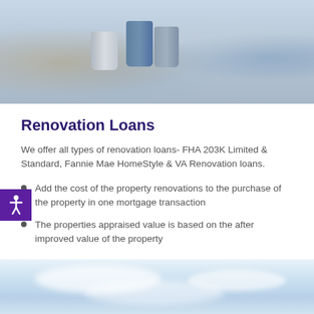[Figure (photo): Photo of people painting/renovating with paint cans and brushes]
Renovation Loans
We offer all types of renovation loans- FHA 203K Limited & Standard, Fannie Mae HomeStyle & VA Renovation loans.
Add the cost of the property renovations to the purchase of the property in one mortgage transaction
The properties appraised value is based on the after improved value of the property
[Figure (photo): Photo of a blue sky with clouds]